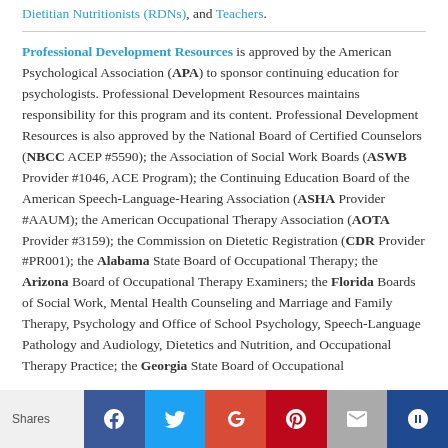Dietitian Nutritionists (RDNs), and Teachers.
Professional Development Resources is approved by the American Psychological Association (APA) to sponsor continuing education for psychologists. Professional Development Resources maintains responsibility for this program and its content. Professional Development Resources is also approved by the National Board of Certified Counselors (NBCC ACEP #5590); the Association of Social Work Boards (ASWB Provider #1046, ACE Program); the Continuing Education Board of the American Speech-Language-Hearing Association (ASHA Provider #AAUM); the American Occupational Therapy Association (AOTA Provider #3159); the Commission on Dietetic Registration (CDR Provider #PR001); the Alabama State Board of Occupational Therapy; the Arizona Board of Occupational Therapy Examiners; the Florida Boards of Social Work, Mental Health Counseling and Marriage and Family Therapy, Psychology and Office of School Psychology, Speech-Language Pathology and Audiology, Dietetics and Nutrition, and Occupational Therapy Practice; the Georgia State Board of Occupational
Shares